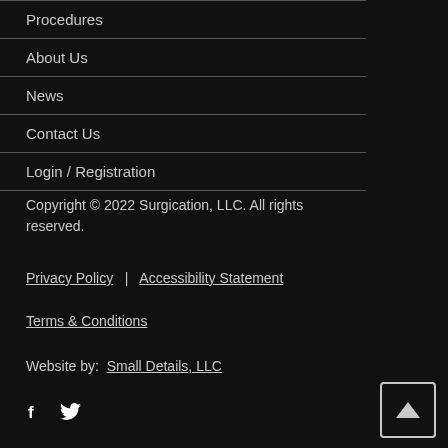Procedures
About Us
News
Contact Us
Login / Registration
Copyright © 2022 Surgication, LLC. All rights reserved.
Privacy Policy  |  Accessibility Statement
Terms & Conditions
Website by:  Small Details, LLC
[Figure (other): Social media icons: Facebook (f) and Twitter (bird icon)]
[Figure (other): Back to top button with upward-pointing triangle arrow]